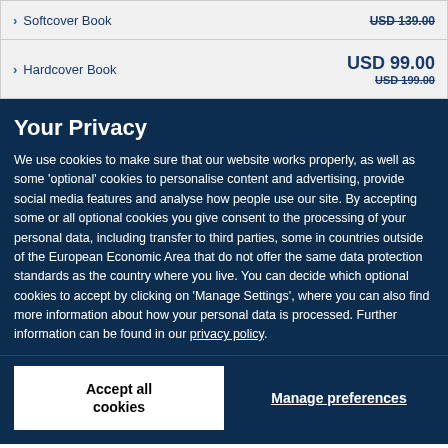Softcover Book  USD 139.00 (strikethrough)
Hardcover Book  USD 99.00  USD 199.00 (strikethrough)
Your Privacy
We use cookies to make sure that our website works properly, as well as some ‘optional’ cookies to personalise content and advertising, provide social media features and analyse how people use our site. By accepting some or all optional cookies you give consent to the processing of your personal data, including transfer to third parties, some in countries outside of the European Economic Area that do not offer the same data protection standards as the country where you live. You can decide which optional cookies to accept by clicking on ‘Manage Settings’, where you can also find more information about how your personal data is processed. Further information can be found in our privacy policy.
Accept all cookies
Manage preferences